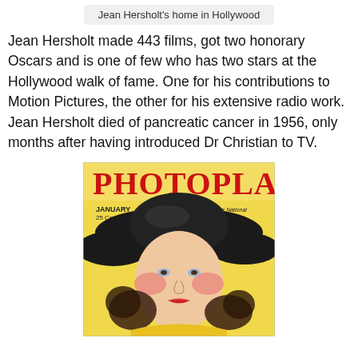Jean Hersholt's home in Hollywood
Jean Hersholt made 443 films, got two honorary Oscars and is one of few who has two stars at the Hollywood walk of fame. One for his contributions to Motion Pictures, the other for his extensive radio work. Jean Hersholt died of pancreatic cancer in 1956, only months after having introduced Dr Christian to TV.
[Figure (photo): Cover of Photoplay magazine, January issue, 25 cents. Shows a woman wearing a large black hat against a yellow background. Text reads 'PHOTOPLAY' in large red letters, 'JANUARY 25 Cents', 'The National Guide to Motion Pictures'.]